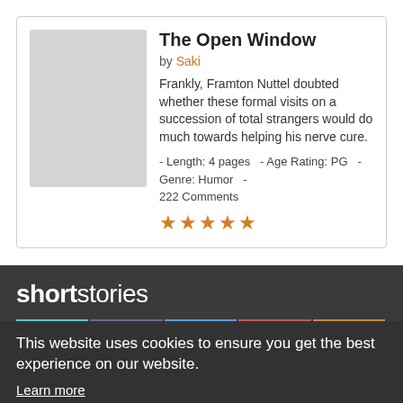The Open Window
by Saki
Frankly, Framton Nuttel doubted whether these formal visits on a succession of total strangers would do much towards helping his nerve cure.
- Length: 4 pages  - Age Rating: PG  - Genre: Humor  -  222 Comments
★★★★★
shortstories
CHILDREN'S  CRIME  FICTION  HORROR  HUMOR
This website uses cookies to ensure you get the best experience on our website.
Learn more
Copyright © East of the Web and contributors 2018. All rights reserved. Use of this site indicates your consent to the Terms of Use and Privacy Policy.
Got it!